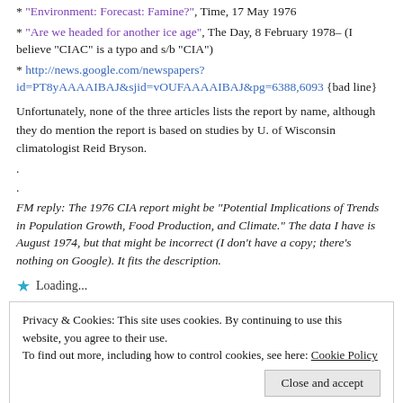* “Environment: Forecast: Famine?”, Time, 17 May 1976
* “Are we headed for another ice age”, The Day, 8 February 1978– (I believe “CIAC” is a typo and s/b “CIA”)
* http://news.google.com/newspapers?id=PT8yAAAAIBAJ&sjid=vOUFAAAAIBAJ&pg=6388,6093 {bad line}
Unfortunately, none of the three articles lists the report by name, although they do mention the report is based on studies by U. of Wisconsin climatologist Reid Bryson.
.
.
FM reply: The 1976 CIA report might be “Potential Implications of Trends in Population Growth, Food Production, and Climate.” The data I have is August 1974, but that might be incorrect (I don’t have a copy; there’s nothing on Google). It fits the description.
★ Loading...
Privacy & Cookies: This site uses cookies. By continuing to use this website, you agree to their use.
To find out more, including how to control cookies, see here: Cookie Policy
Close and accept